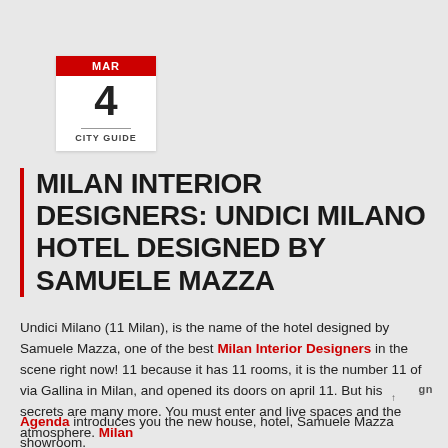MAR 4 CITY GUIDE
MILAN INTERIOR DESIGNERS: UNDICI MILANO HOTEL DESIGNED BY SAMUELE MAZZA
Undici Milano (11 Milan), is the name of the hotel designed by Samuele Mazza, one of the best Milan Interior Designers in the scene right now! 11 because it has 11 rooms, it is the number 11 of via Gallina in Milan, and opened its doors on april 11. But his secrets are many more. You must enter and live spaces and the atmosphere. Milan Agenda introduces you the new house, hotel, Samuele Mazza showroom.